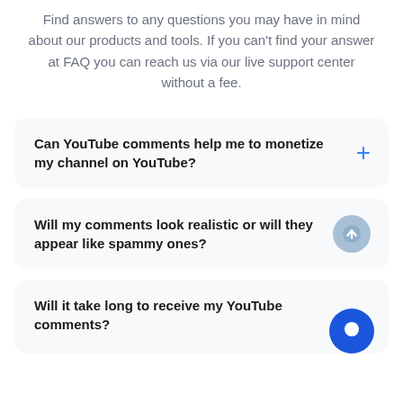Find answers to any questions you may have in mind about our products and tools. If you can't find your answer at FAQ you can reach us via our live support center without a fee.
Can YouTube comments help me to monetize my channel on YouTube?
Will my comments look realistic or will they appear like spammy ones?
Will it take long to receive my YouTube comments?